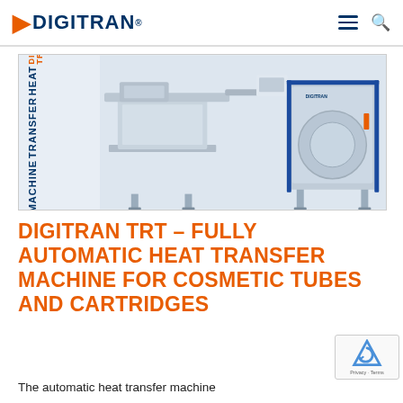DIGITRAN®
[Figure (photo): Digitran TRT Heat Transfer Machine for tubes and cartridges – industrial automated machine with robotic arms, conveyor system, control panel, and safety enclosures. Text overlay reads: DIGITRAN TRT HEAT TRANSFER MACHINE for tubes and cartridges.]
DIGITRAN TRT – FULLY AUTOMATIC HEAT TRANSFER MACHINE FOR COSMETIC TUBES AND CARTRIDGES
The automatic heat transfer machine